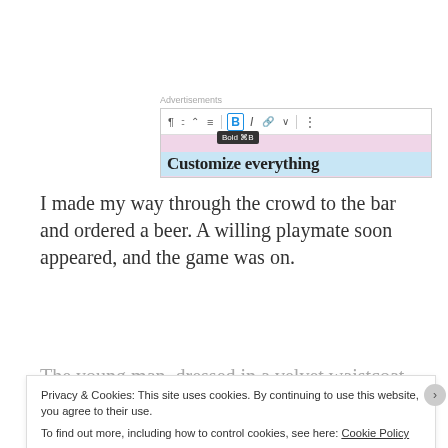Advertisements
[Figure (screenshot): WordPress block editor toolbar screenshot showing paragraph, list, heading, quote, bold (B), italic (I), link, and more options buttons. A tooltip reads 'Bold ⌘B'. Below the toolbar is a pink background with text 'Customize everything' in bold serif font.]
I made my way through the crowd to the bar and ordered a beer. A willing playmate soon appeared, and the game was on.
The young man, dressed in a velvet waistcoat and
Privacy & Cookies: This site uses cookies. By continuing to use this website, you agree to their use.
To find out more, including how to control cookies, see here: Cookie Policy
Close and accept